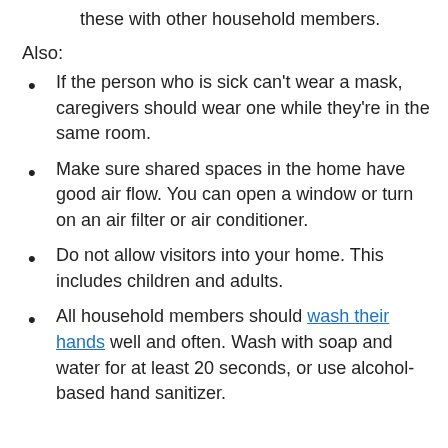these with other household members.
Also:
If the person who is sick can't wear a mask, caregivers should wear one while they're in the same room.
Make sure shared spaces in the home have good air flow. You can open a window or turn on an air filter or air conditioner.
Do not allow visitors into your home. This includes children and adults.
All household members should wash their hands well and often. Wash with soap and water for at least 20 seconds, or use alcohol-based hand sanitizer.